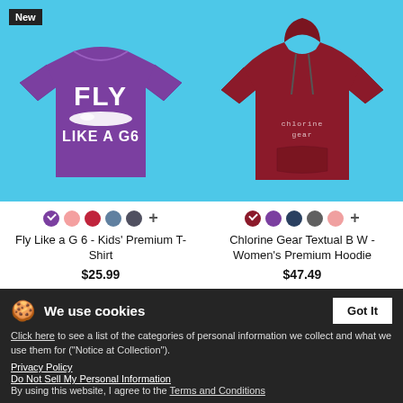[Figure (photo): Purple kids' t-shirt with 'Fly Like a G6' graphic on light blue background, with 'New' badge]
[Figure (photo): Dark red/maroon women's premium hoodie with chlorine gear textual graphic on light blue background]
Fly Like a G 6 - Kids' Premium T-Shirt
Chlorine Gear Textual B W - Women's Premium Hoodie
$25.99
$47.49
We use cookies
Click here to see a list of the categories of personal information we collect and what we use them for ("Notice at Collection").
Privacy Policy
Do Not Sell My Personal Information
By using this website, I agree to the Terms and Conditions